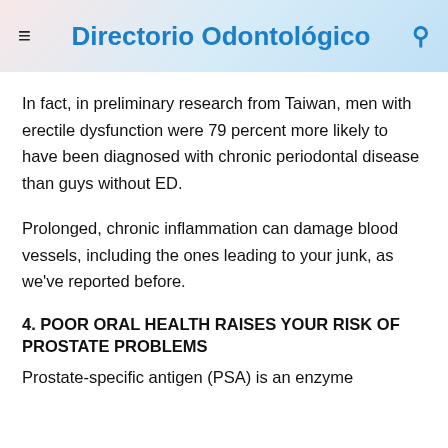Directorio Odontológico
In fact, in preliminary research from Taiwan, men with erectile dysfunction were 79 percent more likely to have been diagnosed with chronic periodontal disease than guys without ED.
Prolonged, chronic inflammation can damage blood vessels, including the ones leading to your junk, as we've reported before.
4. POOR ORAL HEALTH RAISES YOUR RISK OF PROSTATE PROBLEMS
Prostate-specific antigen (PSA) is an enzyme